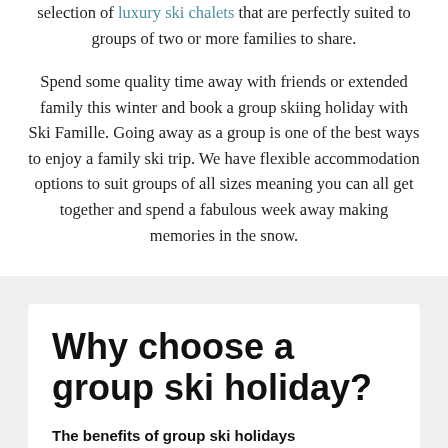selection of luxury ski chalets that are perfectly suited to groups of two or more families to share.
Spend some quality time away with friends or extended family this winter and book a group skiing holiday with Ski Famille. Going away as a group is one of the best ways to enjoy a family ski trip. We have flexible accommodation options to suit groups of all sizes meaning you can all get together and spend a fabulous week away making memories in the snow.
Why choose a group ski holiday?
The benefits of group ski holidays
Ski chalet holidays have many benefits over staying in a hotel, especially for skiers travelling in groups.